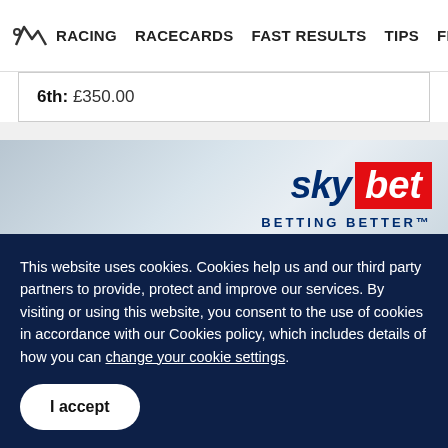RACING  RACECARDS  FAST RESULTS  TIPS  FEATURES
6th: £350.00
[Figure (logo): Sky Bet logo with 'sky' in dark blue italic and 'bet' in white on red background, with text 'BETTING BETTER™' below]
This website uses cookies. Cookies help us and our third party partners to provide, protect and improve our services. By visiting or using this website, you consent to the use of cookies in accordance with our Cookies policy, which includes details of how you can change your cookie settings.
I accept